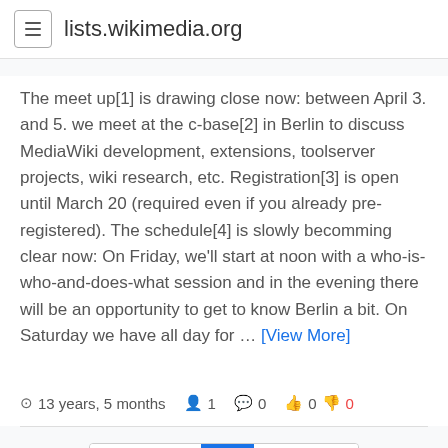lists.wikimedia.org
The meet up[1] is drawing close now: between April 3. and 5. we meet at the c-base[2] in Berlin to discuss MediaWiki development, extensions, toolserver projects, wiki research, etc. Registration[3] is open until March 20 (required even if you already pre-registered). The schedule[4] is slowly becomming clear now: On Friday, we'll start at noon with a who-is-who-and-does-what session and in the evening there will be an opportunity to get to know Berlin a bit. On Saturday we have all day for … [View More]
13 years, 5 months  1  0  0  0
← Newer  1  Older →
Results per page: 10